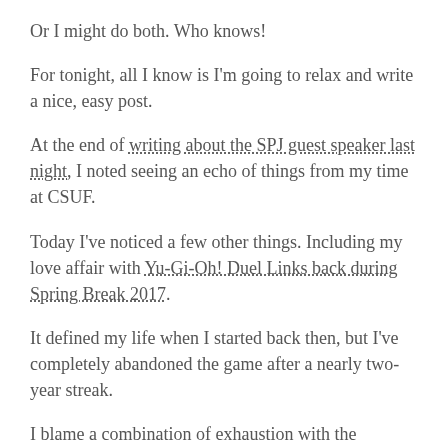Or I might do both. Who knows!
For tonight, all I know is I'm going to relax and write a nice, easy post.
At the end of writing about the SPJ guest speaker last night, I noted seeing an echo of things from my time at CSUF.
Today I've noticed a few other things. Including my love affair with Yu-Gi-Oh! Duel Links back during Spring Break 2017.
It defined my life when I started back then, but I've completely abandoned the game after a nearly two-year streak.
I blame a combination of exhaustion with the gameplay and a distinct lack of time to pass around.